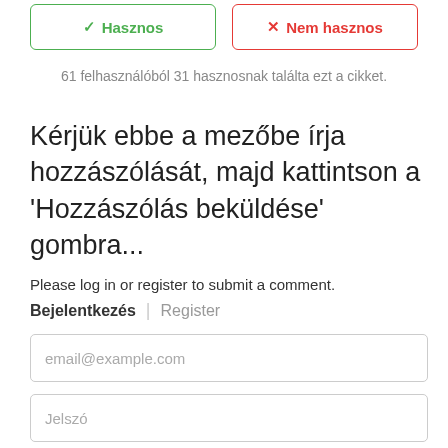[Figure (screenshot): Two buttons side by side: a green 'Hasznos' (Useful) button with a checkmark icon, and a red 'Nem hasznos' (Not useful) button with an X icon]
61 felhasználóból 31 hasznosnak találta ezt a cikket.
Kérjük ebbe a mezőbe írja hozzászólását, majd kattintson a 'Hozzászólás beküldése' gombra...
Please log in or register to submit a comment.
Bejelentkezés | Register
email@example.com
Jelszó